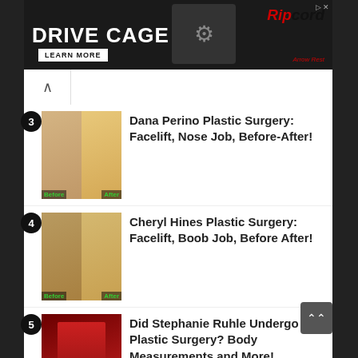[Figure (screenshot): Advertisement banner for Drive Cage by Ripcord Arrow Rest with a black background, large white bold text 'DRIVE CAGE', red Ripcord branding, and a 'LEARN MORE' button.]
3 Dana Perino Plastic Surgery: Facelift, Nose Job, Before-After!
4 Cheryl Hines Plastic Surgery: Facelift, Boob Job, Before After!
5 Did Stephanie Ruhle Undergo Plastic Surgery? Body Measurements and More!
6 Nicole Scherzinger...